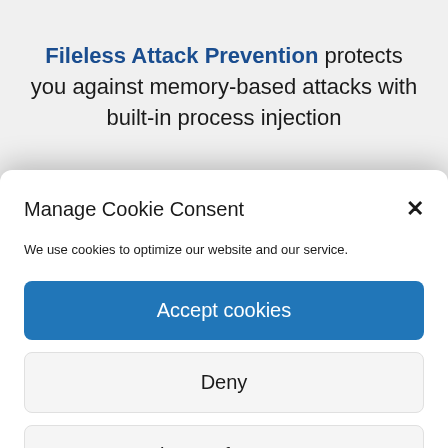Fileless Attack Prevention protects you against memory-based attacks with built-in process injection
Manage Cookie Consent
We use cookies to optimize our website and our service.
Accept cookies
Deny
View preferences
Privacy policy   Privacy policy
Observe everything with one tool